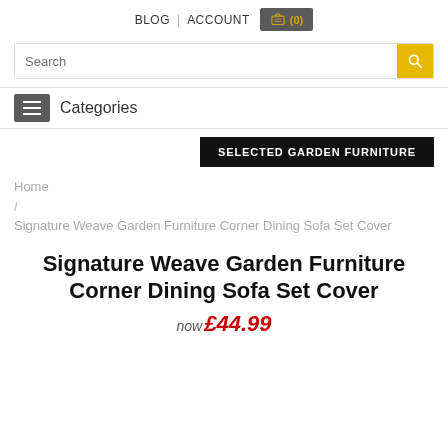BLOG | ACCOUNT (0)
Search
Categories
SELECTED GARDEN FURNITURE
Home / Signature Weave Garden Furniture Corner Dining Sofa Set Cover
Signature Weave Garden Furniture Corner Dining Sofa Set Cover
now £44.99